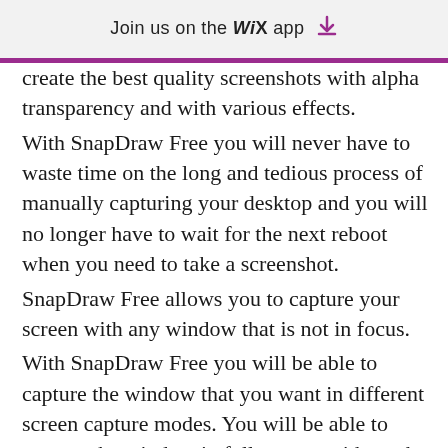Join us on the WiX app ↓
create the best quality screenshots with alpha transparency and with various effects. With SnapDraw Free you will never have to waste time on the long and tedious process of manually capturing your desktop and you will no longer have to wait for the next reboot when you need to take a screenshot. SnapDraw Free allows you to capture your screen with any window that is not in focus. With SnapDraw Free you will be able to capture the window that you want in different screen capture modes. You will be able to capture the window in full screen, without the window, or in windowed mode. SnapDraw Free will